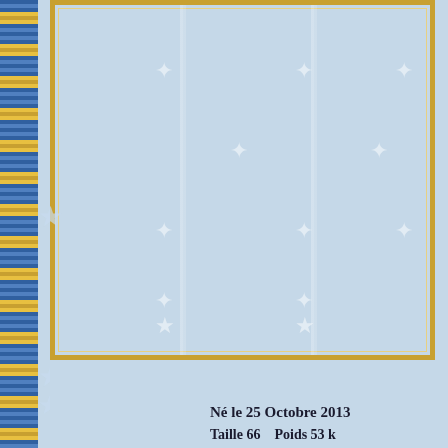[Figure (photo): Baby photo document page with decorative light blue background featuring white star pattern and vertical stripe lines. Gold/mustard colored border frame surrounds the main content area. Left side has a film-strip style border with blue and gold repeated pattern. Bottom section contains birth information text.]
Né le 25 Octobre 2013
Taille 66    Poids 53 k